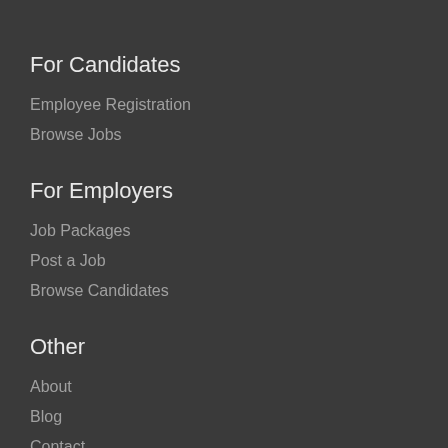For Candidates
Employee Registration
Browse Jobs
For Employers
Job Packages
Post a Job
Browse Candidates
Other
About
Blog
Contact